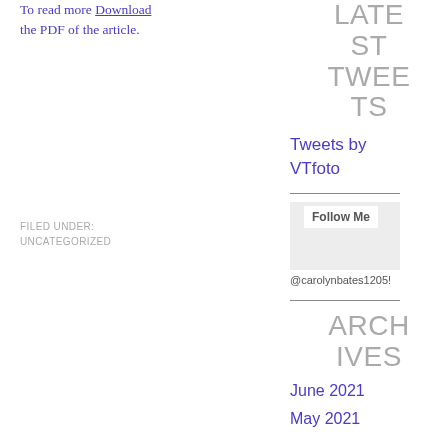To read more Download the PDF of the article.
FILED UNDER:
UNCATEGORIZED
LATEST TWEETS
Tweets by VTfoto
Follow Me @carolynbates1205!
ARCHIVES
June 2021
May 2021